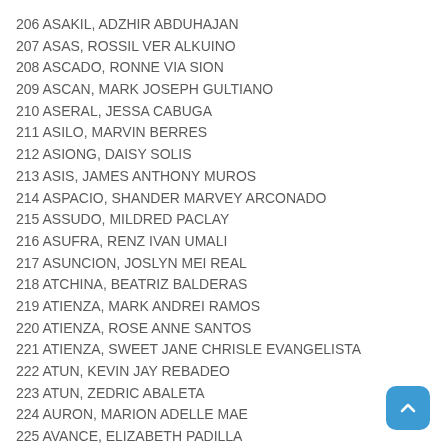206 ASAKIL, ADZHIR ABDUHAJAN
207 ASAS, ROSSIL VER ALKUINO
208 ASCADO, RONNE VIA SION
209 ASCAN, MARK JOSEPH GULTIANO
210 ASERAL, JESSA CABUGA
211 ASILO, MARVIN BERRES
212 ASIONG, DAISY SOLIS
213 ASIS, JAMES ANTHONY MUROS
214 ASPACIO, SHANDER MARVEY ARCONADO
215 ASSUDO, MILDRED PACLAY
216 ASUFRA, RENZ IVAN UMALI
217 ASUNCION, JOSLYN MEI REAL
218 ATCHINA, BEATRIZ BALDERAS
219 ATIENZA, MARK ANDREI RAMOS
220 ATIENZA, ROSE ANNE SANTOS
221 ATIENZA, SWEET JANE CHRISLE EVANGELISTA
222 ATUN, KEVIN JAY REBADEO
223 ATUN, ZEDRIC ABALETA
224 AURON, MARION ADELLE MAE
225 AVANCE, ELIZABETH PADILLA